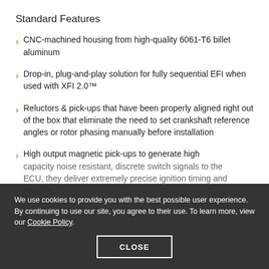Standard Features
CNC-machined housing from high-quality 6061-T6 billet aluminum
Drop-in, plug-and-play solution for fully sequential EFI when used with XFI 2.0™
Reluctors & pick-ups that have been properly aligned right out of the box that eliminate the need to set crankshaft reference angles or rotor phasing manually before installation
High output magnetic pick-ups to generate high capacity noise resistant, discrete switch signals to the ECU, they deliver extremely precise ignition timing and long life
We use cookies to provide you with the best possible user experience. By continuing to use our site, you agree to their use. To learn more, view our Cookie Policy.
CLOSE